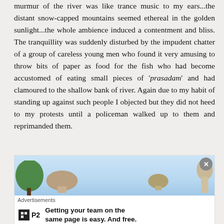murmur of the river was like trance music to my ears...the distant snow-capped mountains seemed ethereal in the golden sunlight...the whole ambience induced a contentment and bliss. The tranquillity was suddenly disturbed by the impudent chatter of a group of careless young men who found it very amusing to throw bits of paper as food for the fish who had become accustomed of eating small pieces of 'prasadam' and had clamoured to the shallow bank of river. Again due to my habit of standing up against such people I objected but they did not heed to my protests until a policeman walked up to them and reprimanded them.
[Figure (photo): Advertisement banner image showing a landscape with trees and mushroom-shaped rock formations against a light blue sky]
Advertisements
Getting your team on the same page is easy. And free.